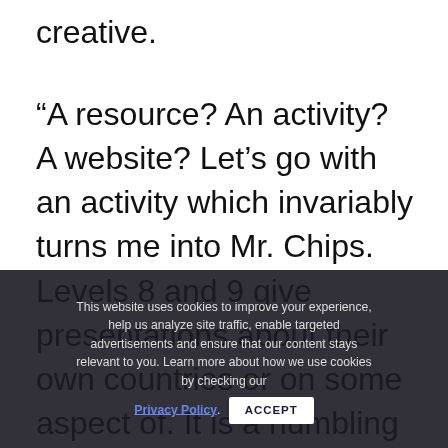creative.
“A resource? An activity? A website? Let’s go with an activity which invariably turns me into Mr. Chips. Levels 8 and 9 give presentations about their own countries or on some aspect of. It is a humbling Mr. Chips moment watching them stand there with their 30 – 45-minute power point presentation, fielding questions, thinking on their feet, pivoting gracefully and above all with no stress. They already walk out into the English-speaking world.”
This website uses cookies to improve your experience, help us analyze site traffic, enable targeted advertisements and ensure that our content stays relevant to you. Learn more about how we use cookies by checking our Privacy Policy. ACCEPT